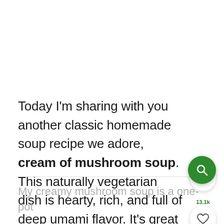Today I'm sharing with you another classic homemade soup recipe we adore, cream of mushroom soup. This naturally vegetarian dish is hearty, rich, and full of deep umami flavor. It's great topped with fresh herbs and served as a side or main dish!
My creamy mushroom soup is a one-pot